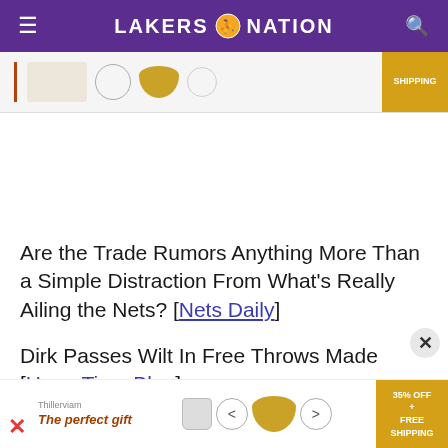LAKERS NATION
[Figure (screenshot): Partial advertisement banner at top showing product images and a gold badge with 'SHIPPING' text]
Are the Trade Rumors Anything More Than a Simple Distraction From What’s Really Ailing the Nets? [Nets Daily]
Dirk Passes Wilt In Free Throws Made [Hang Time Blog]
[Figure (screenshot): Advertisement banner at bottom: The perfect gift - 35% OFF + FREE SHIPPING]